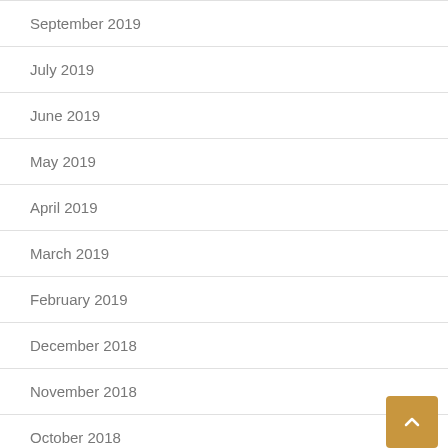September 2019
July 2019
June 2019
May 2019
April 2019
March 2019
February 2019
December 2018
November 2018
October 2018
September 2018
July 2018